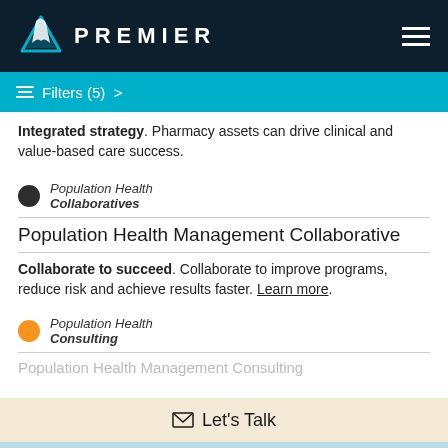[Figure (logo): Premier logo with triangular icon and PREMIER wordmark on dark navy background, with hamburger menu icon on the right]
[Figure (infographic): Cyan filter bar with filter icon and text 'Filters (5) >']
Integrated strategy. Pharmacy assets can drive clinical and value-based care success.
Population Health Collaboratives
Population Health Management Collaborative
Collaborate to succeed. Collaborate to improve programs, reduce risk and achieve results faster. Learn more.
Population Health Consulting
Let's Talk